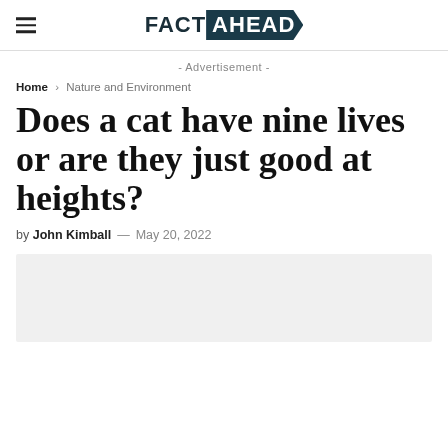FACT AHEAD
- Advertisement -
Home > Nature and Environment
Does a cat have nine lives or are they just good at heights?
by John Kimball — May 20, 2022
[Figure (photo): Light gray placeholder image area at the bottom of the page]